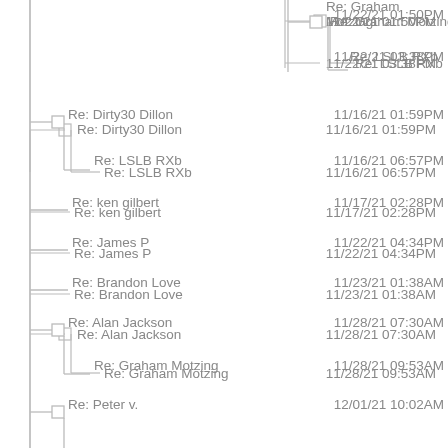Re: Graham Motzing   11/22/21 01:50PM
Re: LSLB RXb   11/22/21 03:38PM
Re: Dirty30 Dillon   11/16/21 01:59PM
Re: LSLB RXb   11/16/21 06:57PM
Re: ken gilbert   11/17/21 02:28PM
Re: James P   11/22/21 04:34PM
Re: Brandon Love   11/23/21 01:38AM
Re: Alan Jackson   11/28/21 07:30AM
Re: Graham Motzing   11/28/21 09:53AM
Re: Peter v.   12/01/21 10:02AM
Re: Totally normal JBOT   12/01/21 11:41AM
Re: LSLB RXb   12/01/21 12:03PM
Re: P D   12/01/21 06:39PM
Re: LSLB RXb   12/08/21 12:51PM